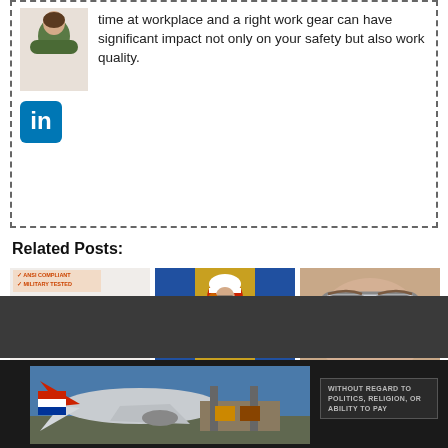time at workplace and a right work gear can have significant impact not only on your safety but also work quality.
[Figure (photo): LinkedIn social media icon (blue square with 'in' logo)]
Related Posts:
[Figure (photo): Safety glasses product photo with ANSI Compliant and Military Tested labels]
7 Best ANSI Safety Glasses for Men and Women
[Figure (photo): Worker in red jacket and white hard hat wearing safety glasses, industrial setting]
Do Safety Glasses Expire?
[Figure (photo): Person wearing over-the-glasses safety goggles, close-up]
Best Over-The-Glasses Safety Goggles for Work
[Figure (photo): Cargo plane being loaded, advertisement image with text 'Without Regard To Politics, Religion, or Ability to Pay']